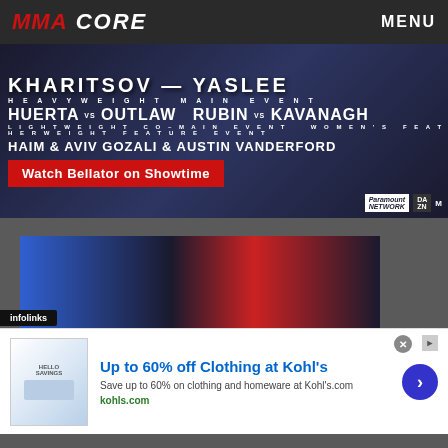MMA CORE  MENU
[Figure (photo): Bellator MMA event promotional banner showing Kharitsov vs Yaseel heavyweight main event, Huerta vs Outlaw and Rubin vs Kavanagh co-main events, Haim & Aviv Gozali & Austin Vanderford. Watch Bellator on Showtime button. Paramount Network, DAZN, Monster Energy logos.]
[Figure (photo): Paramount+ and Showtime advertisement showing NFL/CBS Sports and Showtime Championship Boxing with football players and Gervonta Davis.]
infolinks
[Figure (screenshot): Kohl's advertisement: Up to 60% off Clothing at Kohl's. Save up to 60% on clothing and homeware at Kohl's.com. kohls.com]